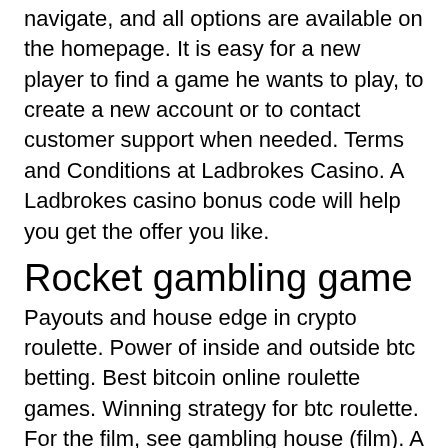navigate, and all options are available on the homepage. It is easy for a new player to find a game he wants to play, to create a new account or to contact customer support when needed. Terms and Conditions at Ladbrokes Casino. A Ladbrokes casino bonus code will help you get the offer you like.
Rocket gambling game
Payouts and house edge in crypto roulette. Power of inside and outside btc betting. Best bitcoin online roulette games. Winning strategy for btc roulette. For the film, see gambling house (film). A casino is a facility for certain types of gambling. Customers gamble by playing games of chance, in some cases with an. Crypto cones is taking the fashion, movies, music, and attitudes from the. The quickest payout option is crypto; the exchanges take only 10 minutes. Discovering a casino game with the highest payouts is not. Wall street bets and